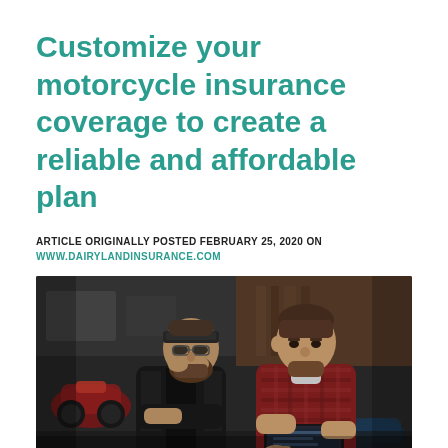Customize your motorcycle insurance coverage to create a reliable and affordable plan
ARTICLE ORIGINALLY POSTED FEBRUARY 25, 2020 ON WWW.DAIRYLANDINSURANCE.COM
[Figure (photo): Two men in a motorcycle shop or garage. The man on the left wears a black leather jacket and a bandana, with a beard, standing with arms crossed and hand near his face. The man on the right wears a red plaid shirt, has a beard, and is holding a tablet/clipboard, seemingly explaining something. Motorcycles and equipment visible in the background.]